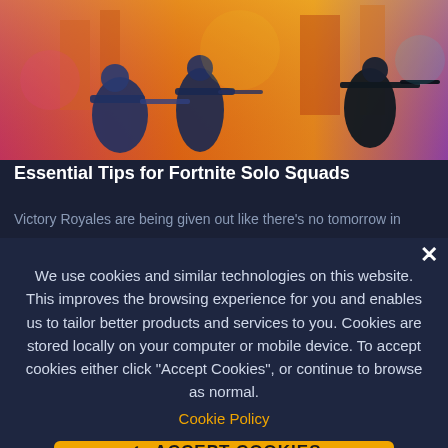[Figure (illustration): Fortnite game artwork showing soldiers/characters with weapons in a colorful stylized battle scene with orange/pink background]
Essential Tips for Fortnite Solo Squads
Victory Royales are being given out like there's no tomorrow in
We use cookies and similar technologies on this website. This improves the browsing experience for you and enables us to tailor better products and services to you. Cookies are stored locally on your computer or mobile device. To accept cookies either click "Accept Cookies", or continue to browse as normal.
Cookie Policy
ACCEPT COOKIES
Cookie Settings and Details